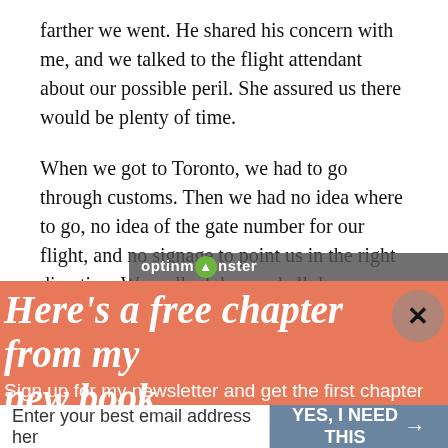farther we went. He shared his concern with me, and we talked to the flight attendant about our possible peril. She assured us there would be plenty of time.
When we got to Toronto, we had to go through customs. Then we had no idea where to go, no idea of the gate number for our flight, and no signage to point us in the right direction. We walked down a hall desperately...
[Figure (screenshot): OptinMonster popup overlay on a blog article page. The popup has a salmon/coral background with white italic bold text reading 'Here's a free chapter from my new book'. Below is white sans-serif text: 'Sign up for my newsletter and get the first chapter of my new book for free.' A close (X) button is in the top right corner. At the bottom is an email input field with placeholder 'Enter your best email address her' and a steel-blue button labeled 'YES, I NEED THIS' with a right arrow. The OptinMonster branding bar appears in the top right of the popup.]